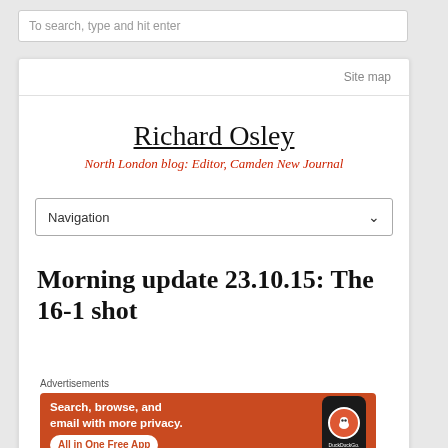To search, type and hit enter
Site map
Richard Osley
North London blog: Editor, Camden New Journal
Navigation
Morning update 23.10.15: The 16-1 shot
Advertisements
[Figure (screenshot): DuckDuckGo advertisement banner: orange background with white text 'Search, browse, and email with more privacy. All in One Free App' and a phone mockup showing DuckDuckGo app icon]